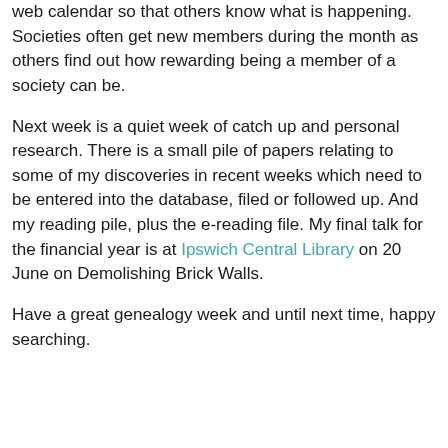web calendar so that others know what is happening. Societies often get new members during the month as others find out how rewarding being a member of a society can be.
Next week is a quiet week of catch up and personal research. There is a small pile of papers relating to some of my discoveries in recent weeks which need to be entered into the database, filed or followed up. And my reading pile, plus the e-reading file. My final talk for the financial year is at Ipswich Central Library on 20 June on Demolishing Brick Walls.
Have a great genealogy week and until next time, happy searching.